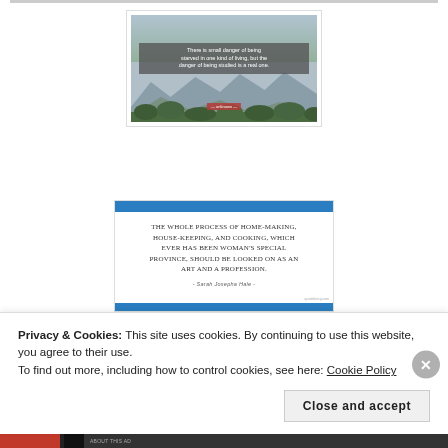[Figure (photo): Mountain landscape with cloudy sky and green trees, overlaid with a semi-transparent dark quote box. Quote reads: 'There is small danger of being starved in one kind of living, but the danger of being studied is a real one.' with a red author tag below.]
[Figure (illustration): White card with a blue horizontal bar at top and bottom. Text reads: 'The whole process of home-making, house-keeping, and cooking, which ever has been woman's special province, should be looked on as an art and a profession.' - Sarah Josepha Hale -]
[Figure (photo): Partial view of a light marble/wood textured background with peach/apricot fruits on the right side.]
Privacy & Cookies: This site uses cookies. By continuing to use this website, you agree to their use.
To find out more, including how to control cookies, see here: Cookie Policy